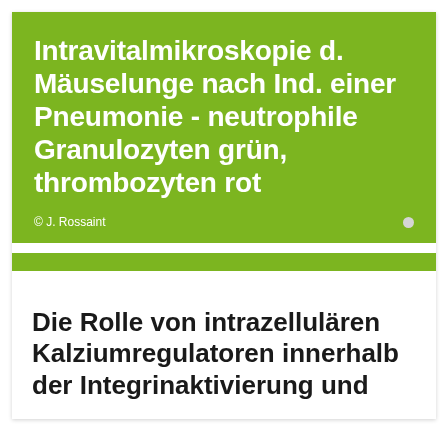Intravitalmikroskopie d. Mäuselunge nach Ind. einer Pneumonie - neutrophile Granulozyten grün, thrombozyten rot
© J. Rossaint
Die Rolle von intrazellulären Kalziumregulatoren innerhalb der Integrinaktivierung und